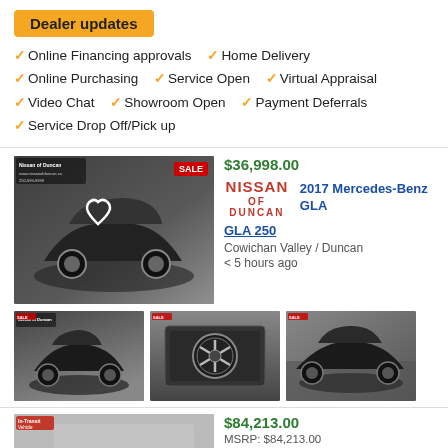Dealer updates
Online Financing approvals
Home Delivery
Online Purchasing
Service Open
Virtual Appraisal
Video Chat
Showroom Open
Payment Deferrals
Service Drop Off/Pick up
$36,998.00
[Figure (photo): 2017 Mercedes-Benz GLA 250 black SUV main photo with heart icon overlay, Nissan of Duncan dealership shown in background]
NISSAN OF DUNCAN
2017 Mercedes-Benz GLA
GLA 250
Cowichan Valley / Duncan
< 5 hours ago
[Figure (photo): 2017 Mercedes-Benz GLA front view thumbnail]
[Figure (photo): 2017 Mercedes-Benz GLA grille star emblem close-up thumbnail]
[Figure (photo): 2017 Mercedes-Benz GLA side profile thumbnail]
$84,213.00
MSRP: $84,213.00